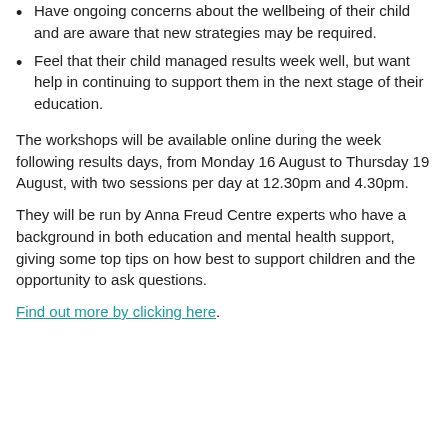Have ongoing concerns about the wellbeing of their child and are aware that new strategies may be required.
Feel that their child managed results week well, but want help in continuing to support them in the next stage of their education.
The workshops will be available online during the week following results days, from Monday 16 August to Thursday 19 August, with two sessions per day at 12.30pm and 4.30pm.
They will be run by Anna Freud Centre experts who have a background in both education and mental health support, giving some top tips on how best to support children and the opportunity to ask questions.
Find out more by clicking here.